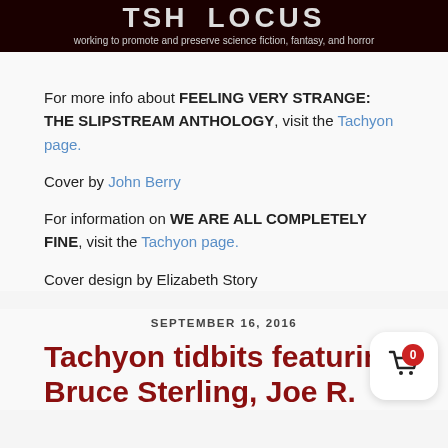[Figure (logo): Dark red banner with large stylized text logo (tsh / Locus) and subtitle 'working to promote and preserve science fiction, fantasy, and horror']
For more info about FEELING VERY STRANGE: THE SLIPSTREAM ANTHOLOGY, visit the Tachyon page.
Cover by John Berry
For information on WE ARE ALL COMPLETELY FINE, visit the Tachyon page.
Cover design by Elizabeth Story
SEPTEMBER 16, 2016
Tachyon tidbits featuring Bruce Sterling, Joe R.